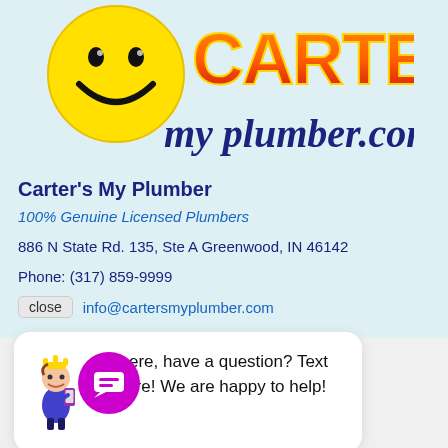[Figure (logo): Carter's My Plumber logo: yellow smiley face on left, bold CARTER'S text in orange-red gradient with yellow outline, italic cursive 'my plumber.com' in dark blue below]
Carter's My Plumber
100% Genuine Licensed Plumbers
886 N State Rd. 135, Ste A Greenwood, IN 46142
Phone: (317) 859-9999
close   info@cartersmyplumber.com
[Figure (screenshot): White chat popup bubble showing a plumber mascot character with crown holding a phone, next to text: 'Hi there, have a question? Text us here! We are happy to help!']
[Figure (illustration): Round magenta/purple chat button with white speech bubble icon containing horizontal lines]